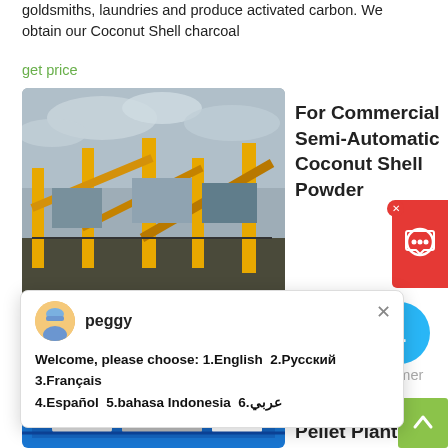goldsmiths, laundries and produce activated carbon. We obtain our Coconut Shell charcoal
get price
[Figure (photo): Industrial machinery/conveyor equipment with yellow frame structures against a cloudy sky]
For Commercial Semi-Automatic Coconut Shell Powder
[Figure (screenshot): Live chat popup with avatar named 'peggy' and multilingual welcome message: Welcome, please choose: 1.English 2.Русский 3.Français 4.Español 5.bahasa Indonesia 6.عربي]
machine. The finished production fineness can be reached 60meshes~300meshes. Production Line Configuration of wings series coconut shell powder grinder machine. The set coconut shell powder grinder machine consists of: 1). Hammer mill
get price
[Figure (photo): Industrial coconut shell pellet plant machinery with blue background]
500kg/H Coconut Shell Pellet Plant For